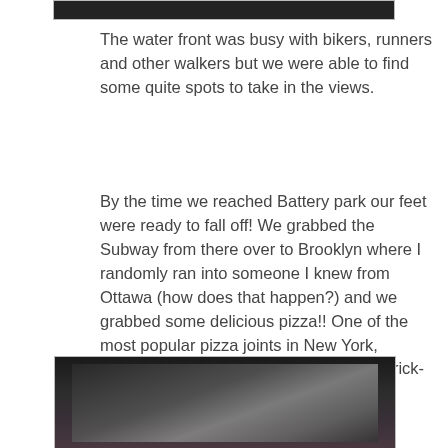[Figure (photo): Top portion of a photograph, partially visible at the top of the page, dark image]
The water front was busy with bikers, runners and other walkers but we were able to find some quite spots to take in the views.
By the time we reached Battery park our feet were ready to fall off!  We grabbed the Subway from there over to Brooklyn where I randomly ran into someone I knew from Ottawa (how does that happen?) and we grabbed some delicious pizza!!  One of the most popular pizza joints in New York, Grimaldi's is known for its yummy coal brick-oven pizza!
[Figure (photo): Bottom portion of a photograph showing what appears to be a building entrance with ornate ironwork gates, partially visible at the bottom of the page]